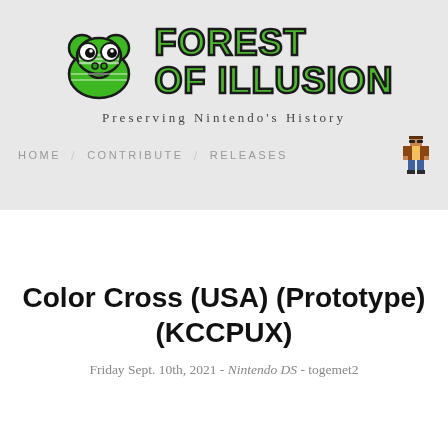[Figure (logo): Forest of Illusion website header with green frog mascot logo and large 'FOREST OF ILLUSION' text in green with black stroke, subtitle 'Preserving Nintendo's History']
HOME / CONTRIBUTE / RELEASES
Color Cross (USA) (Prototype) (KCCPUX)
Friday Sept. 10th, 2021 - Nintendo DS - togemet2